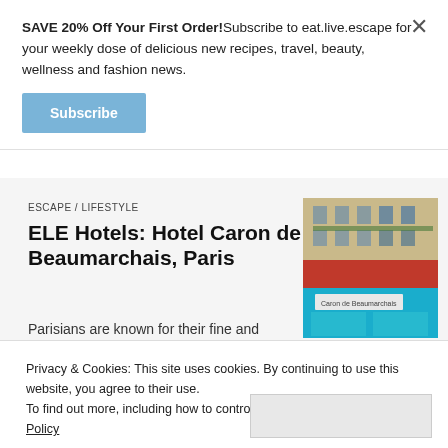SAVE 20% Off Your First Order!Subscribe to eat.live.escape for your weekly dose of delicious new recipes, travel, beauty, wellness and fashion news.
Subscribe
ESCAPE / LIFESTYLE
ELE Hotels: Hotel Caron de Beaumarchais, Paris
[Figure (photo): Photo of Hotel Caron de Beaumarchais in Paris showing upper floors of building, red awning, and cyan/blue shopfront]
Privacy & Cookies: This site uses cookies. By continuing to use this website, you agree to their use.
To find out more, including how to control cookies, see here: Cookie Policy